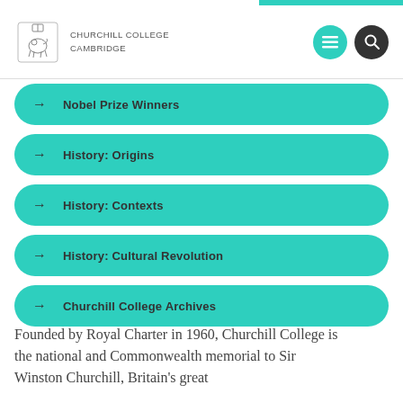CHURCHILL COLLEGE CAMBRIDGE
→ Nobel Prize Winners
→ History: Origins
→ History: Contexts
→ History: Cultural Revolution
→ Churchill College Archives
Founded by Royal Charter in 1960, Churchill College is the national and Commonwealth memorial to Sir Winston Churchill, Britain's great